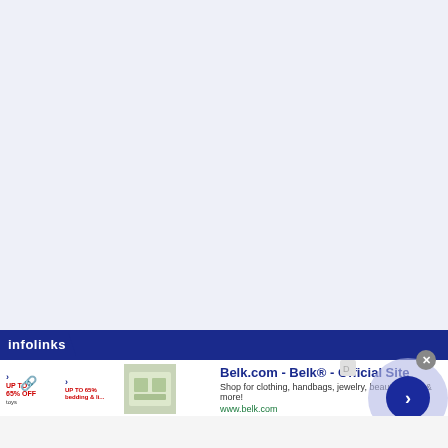[Figure (screenshot): Large light blue-gray empty web page area]
[Figure (infographic): Infolinks ad banner with dark blue bar labeled 'infolinks', showing Belk.com advertisement with product thumbnails, title 'Belk.com - Belk® - Official Site', description 'Shop for clothing, handbags, jewelry, beauty, home & more!', URL 'www.belk.com', and a navigation arrow circle button on right]
Belk.com - Belk® - Official Site
Shop for clothing, handbags, jewelry, beauty, home & more!
www.belk.com